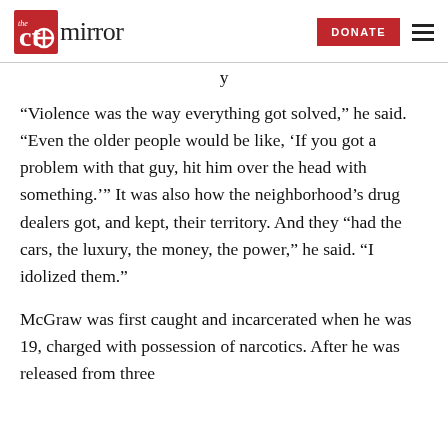The CT Mirror - DONATE
“Violence was the way everything got solved,” he said. “Even the older people would be like, ‘If you got a problem with that guy, hit him over the head with something.’” It was also how the neighborhood’s drug dealers got, and kept, their territory. And they “had the cars, the luxury, the money, the power,” he said. “I idolized them.”
McGraw was first caught and incarcerated when he was 19, charged with possession of narcotics. After he was released from three